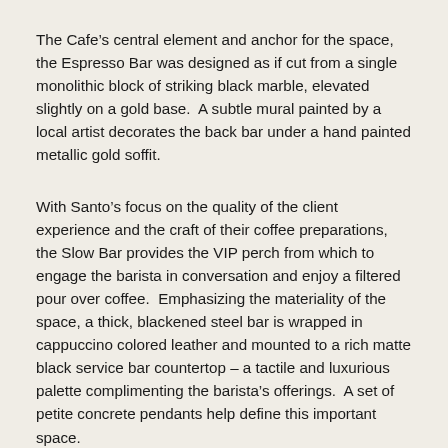The Cafe’s central element and anchor for the space, the Espresso Bar was designed as if cut from a single monolithic block of striking black marble, elevated slightly on a gold base.  A subtle mural painted by a local artist decorates the back bar under a hand painted metallic gold soffit.
With Santo’s focus on the quality of the client experience and the craft of their coffee preparations, the Slow Bar provides the VIP perch from which to engage the barista in conversation and enjoy a filtered pour over coffee.  Emphasizing the materiality of the space, a thick, blackened steel bar is wrapped in cappuccino colored leather and mounted to a rich matte black service bar countertop – a tactile and luxurious palette complimenting the barista’s offerings.  A set of petite concrete pendants help define this important space.
At the onset of the project, the Owner’s requested that the design team find a place for an emerald green couch they had already purchased and wanted to showcase.  A separate lounge space was created, off of the main seating area – a special